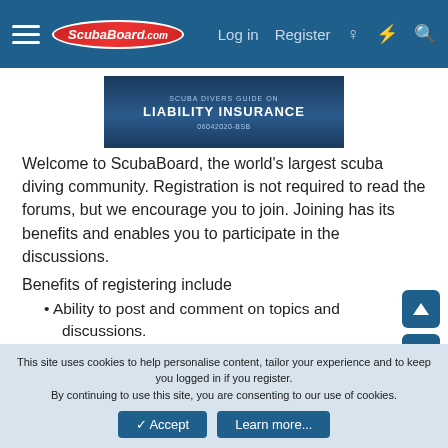ScubaBoard.com — Log in | Register
[Figure (screenshot): Banner advertisement showing LIABILITY INSURANCE text on dark blue underwater background with code 06042020-BSB]
Welcome to ScubaBoard, the world's largest scuba diving community. Registration is not required to read the forums, but we encourage you to join. Joining has its benefits and enables you to participate in the discussions.
Benefits of registering include
Ability to post and comment on topics and discussions.
A Free photo gallery to share your dive photos with the world.
You can make this box go away
This site uses cookies to help personalise content, tailor your experience and to keep you logged in if you register.
By continuing to use this site, you are consenting to our use of cookies.